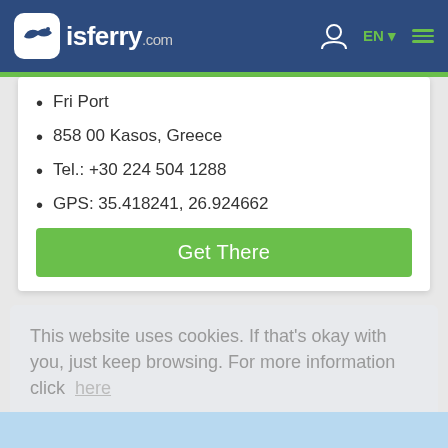isferry.com
Fri Port
858 00 Kasos, Greece
Tel.: +30 224 504 1288
GPS: 35.418241, 26.924662
Get There
This website uses cookies. If that's okay with you, just keep browsing. For more information click here
Got it!